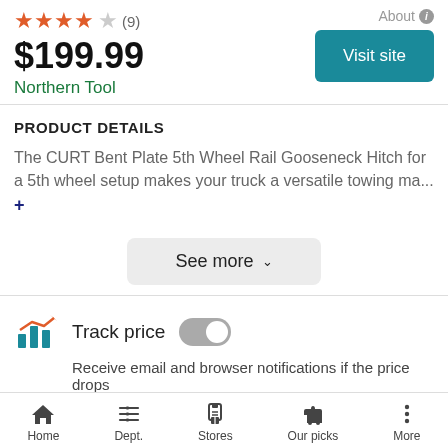★★★★☆ (9)   About ℹ
$199.99
Northern Tool
Visit site
PRODUCT DETAILS
The CURT Bent Plate 5th Wheel Rail Gooseneck Hitch for a 5th wheel setup makes your truck a versatile towing ma... +
See more ∨
Track price  [toggle off]
Receive email and browser notifications if the price drops
Home   Dept.   Stores   Our picks   More